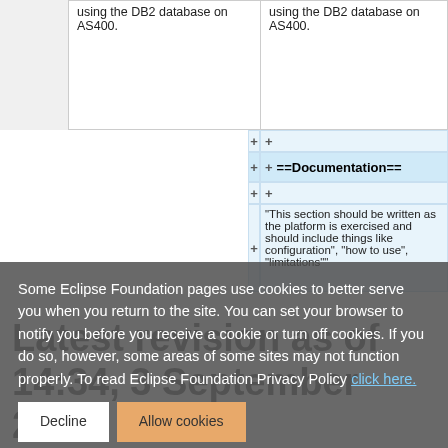using the DB2 database on AS400.
using the DB2 database on AS400.
==Documentation==
"This section should be written as the platform is exercised and should include things like configuration", "how to use", "limitations""
Some Eclipse Foundation pages use cookies to better serve you when you return to the site. You can set your browser to notify you before you receive a cookie or turn off cookies. If you do so, however, some areas of some sites may not function properly. To read Eclipse Foundation Privacy Policy click here.
==Location==
==Location==
Latest revision as of 14:34, 3 September 2009